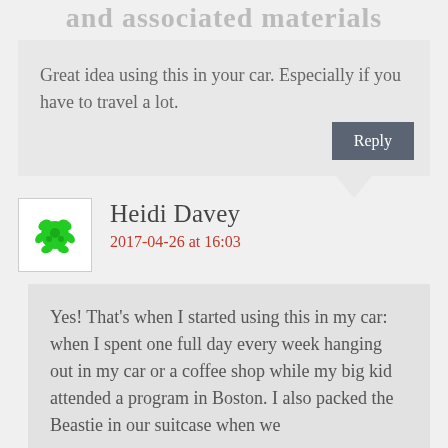and associated materials
Great idea using this in your car. Especially if you have to travel a lot.
Reply
Heidi Davey
2017-04-26 at 16:03
Yes! That's when I started using this in my car: when I spent one full day every week hanging out in my car or a coffee shop while my big kid attended a program in Boston. I also packed the Beastie in our suitcase when we